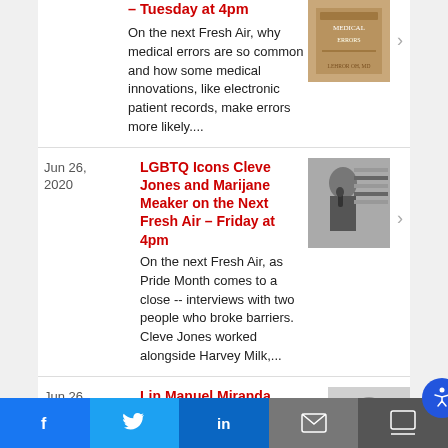– Tuesday at 4pm
On the next Fresh Air, why medical errors are so common and how some medical innovations, like electronic patient records, make errors more likely....
Jun 26, 2020 — LGBTQ Icons Cleve Jones and Marijane Meaker on the Next Fresh Air – Friday at 4pm. On the next Fresh Air, as Pride Month comes to a close -- interviews with two people who broke barriers. Cleve Jones worked alongside Harvey Milk,...
Jun 26, 2020 — Lin Manuel Miranda Returns to Fresh Air – Monday at 4pm. On the next Fresh Air, Lin...
Social share bar: Facebook, Twitter, LinkedIn, Email, Accessibility